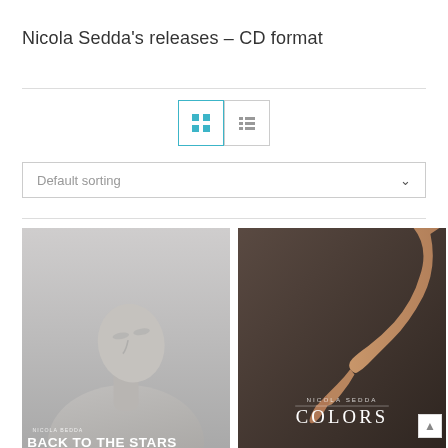Nicola Sedda's releases – CD format
[Figure (screenshot): View toggle buttons: grid view (active, blue border) and list view]
Default sorting
[Figure (photo): Left album cover: 'Back to the Stars' by Nicola Sedda – grey-toned photo of a male figure with eyes closed, text 'NICOLA BEDDA BACK TO THE STARS' at bottom]
[Figure (photo): Right album cover: 'Colors' by Nicola Sedda – dark brown background with an outstretched hand/arm, text 'NICOLA SEDDA COLORS' centered]